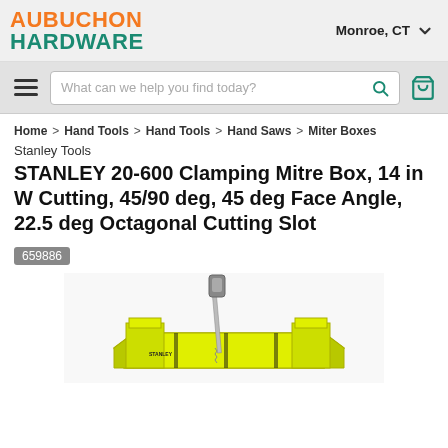Aubuchon Hardware — Monroe, CT
What can we help you find today?
Home > Hand Tools > Hand Tools > Hand Saws > Miter Boxes
Stanley Tools
STANLEY 20-600 Clamping Mitre Box, 14 in W Cutting, 45/90 deg, 45 deg Face Angle, 22.5 deg Octagonal Cutting Slot
659886
[Figure (photo): Photo of a yellow STANLEY 20-600 Clamping Mitre Box with a saw inserted, viewed from the front-left angle.]